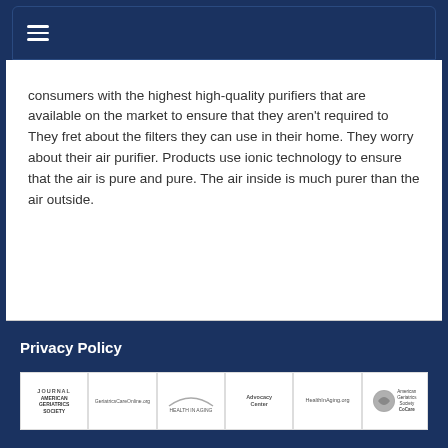consumers with the highest high-quality purifiers that are available on the market to ensure that they aren't required to They fret about the filters they can use in their home. They worry about their air purifier. Products use ionic technology to ensure that the air is pure and pure. The air inside is much purer than the air outside.
Privacy Policy